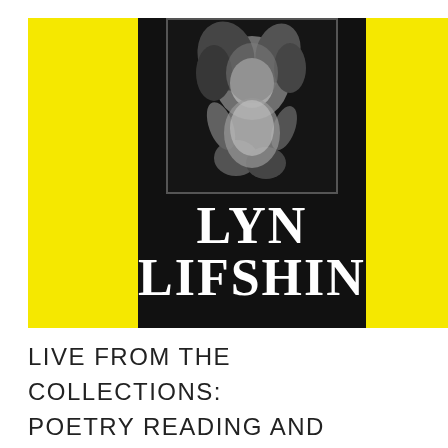[Figure (photo): Book cover for Lyn Lifshin: yellow background panels flanking a black and white central panel with a photo of a woman and large white text reading 'LYN LIFSHIN']
LIVE FROM THE COLLECTIONS: POETRY READING AND ROUNDTABLE – OCTOBER 1, 2013